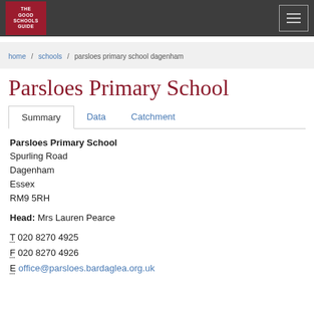The Good Schools Guide
home / schools / parsloes primary school dagenham
Parsloes Primary School
Summary | Data | Catchment
Parsloes Primary School
Spurling Road
Dagenham
Essex
RM9 5RH

Head: Mrs Lauren Pearce

T 020 8270 4925
F 020 8270 4926
E office@parsloes.bardaglea.org.uk